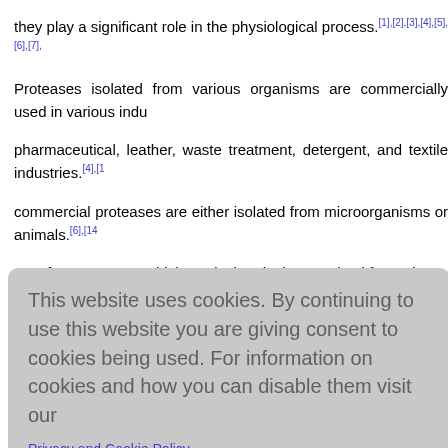they play a significant role in the physiological process.[1],[2],[3],[4],[5],[6],[7], Proteases isolated from various organisms are commercially used in various indu pharmaceutical, leather, waste treatment, detergent, and textile industries.[4],[1] commercial proteases are either isolated from microorganisms or animals.[6],[14] very few proteases which are isolated, characterized from plants.[2] Th characterization of new promising proteases from plant sources have also incurred various food and biotechnology-based industries due to their properties being si broad range of pH and temperature.[3] Hence, plant-based proteases have b various species as well as from all parts of the plant.[2], 12, [18],[19],[20] How demand for protease globally, it is necessary to continue searching for newly av low prices. In Cameroon, some plants are used conventionally according to the nataceae fa e local pop that B. enn and charact
[Figure (screenshot): Cookie consent overlay with grey background, message about cookie usage, a link to Privacy and Cookie Policy, and a red AGREE & PROCEED button]
on to extra arious bioch Plackett-B nce proteas timized using methodology (RSM) through center composite experimental design.